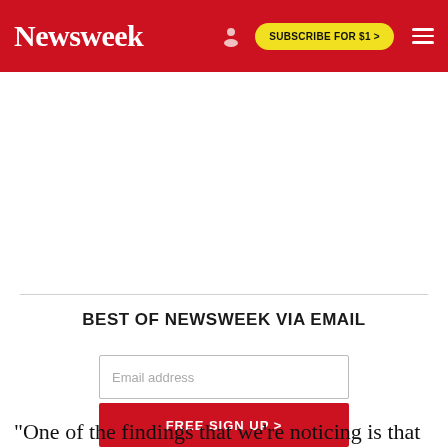Newsweek | SUBSCRIBE FOR $1 >
BEST OF NEWSWEEK VIA EMAIL
Email address
FREE SIGN UP >
"One of the findings that we're noticing is that